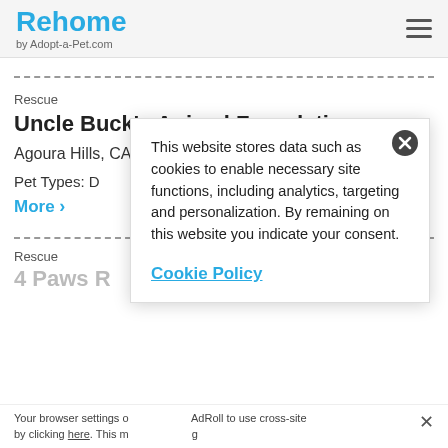Rehome by Adopt-a-Pet.com
Rescue
Uncle Buck's Animal Foundation
Agoura Hills, CA 91301
Pet Types: D
More >
Rescue
4 Paws R
[Figure (screenshot): Cookie consent popup with close button (X), cookie policy text, and Cookie Policy link]
Your browser settings or AdRoll to use cross-site by clicking here. This message only appears once.